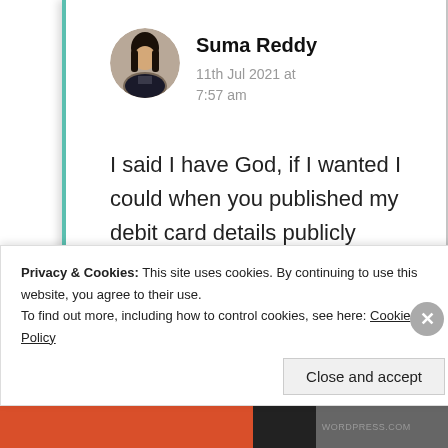[Figure (photo): Circular avatar photo of Suma Reddy, a woman with dark hair]
Suma Reddy
11th Jul 2021 at 7:57 am
I said I have God, if I wanted I could when you published my debit card details publicly knowing the impact. That was
Privacy & Cookies: This site uses cookies. By continuing to use this website, you agree to their use.
To find out more, including how to control cookies, see here: Cookie Policy
Close and accept